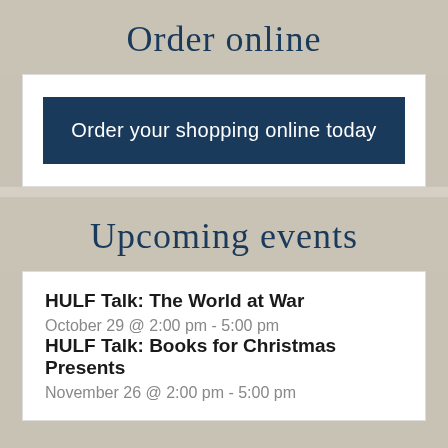Order online
Order your shopping online today
Upcoming events
HULF Talk: The World at War
October 29 @ 2:00 pm - 5:00 pm
HULF Talk: Books for Christmas Presents
November 26 @ 2:00 pm - 5:00 pm